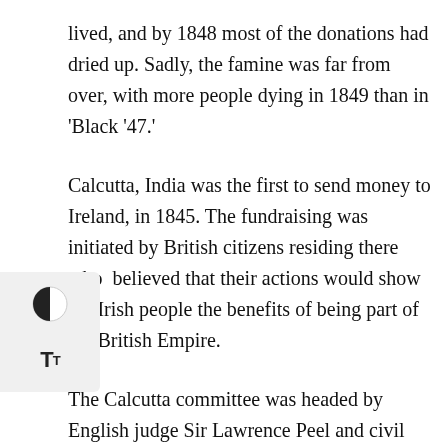lived, and by 1848 most of the donations had dried up. Sadly, the famine was far from over, with more people dying in 1849 than in 'Black '47.'
Calcutta, India was the first to send money to Ireland, in 1845. The fundraising was initiated by British citizens residing there who believed that their actions would show the Irish people the benefits of being part of the British Empire.
The Calcutta committee was headed by English judge Sir Lawrence Peel and civil servant Sir James Grant and included a number of Irish men and native Indians. The committee appealed to the Empress...